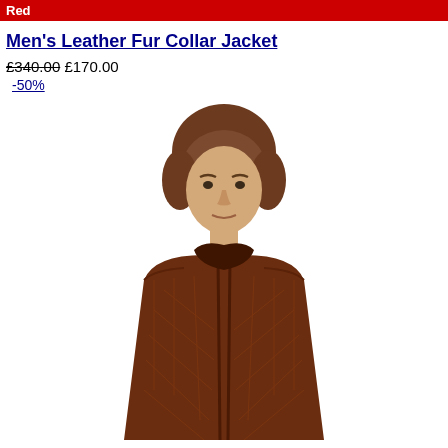Red
Men's Leather Fur Collar Jacket
£340.00 £170.00
-50%
[Figure (photo): Male model wearing a brown quilted leather fur collar jacket, shown from chest up with a white background.]